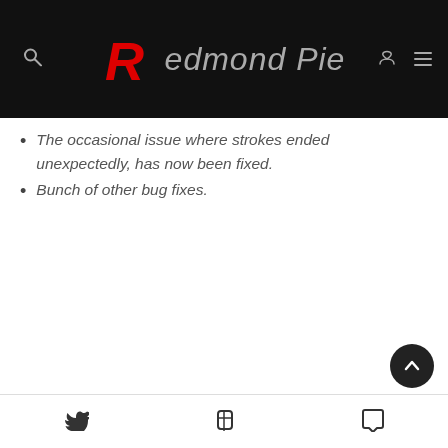Redmond Pie
The occasional issue where strokes ended unexpectedly, has now been fixed.
Bunch of other bug fixes.